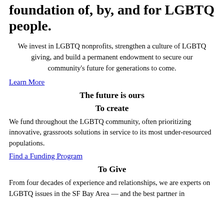foundation of, by, and for LGBTQ people.
We invest in LGBTQ nonprofits, strengthen a culture of LGBTQ giving, and build a permanent endowment to secure our community's future for generations to come.
Learn More
The future is ours
To create
We fund throughout the LGBTQ community, often prioritizing innovative, grassroots solutions in service to its most under-resourced populations.
Find a Funding Program
To Give
From four decades of experience and relationships, we are experts on LGBTQ issues in the SF Bay Area — and the best partner in